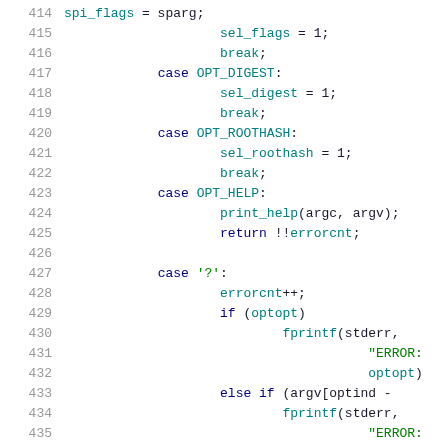[Figure (screenshot): Source code listing showing C code lines 415-435 with syntax highlighting. Line numbers in gray on left, keywords in dark blue, identifiers in teal/cyan, string literals in green.]